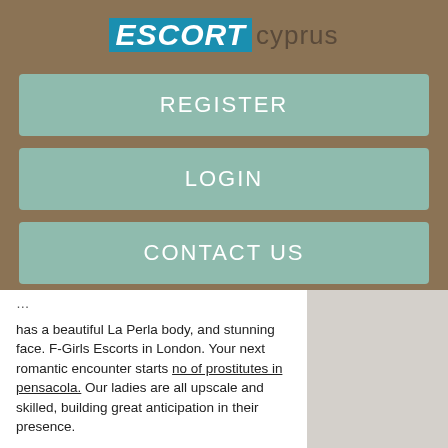[Figure (logo): ESCORTcyprus logo — ESCORT in blue italic bold block, 'cyprus' in dark text beside it]
REGISTER
LOGIN
CONTACT US
has a beautiful La Perla body, and stunning face. F-Girls Escorts in London. Your next romantic encounter starts no of prostitutes in pensacola. Our ladies are all upscale and skilled, building great anticipation in their presence.
Agata Fetish — Experienced escort